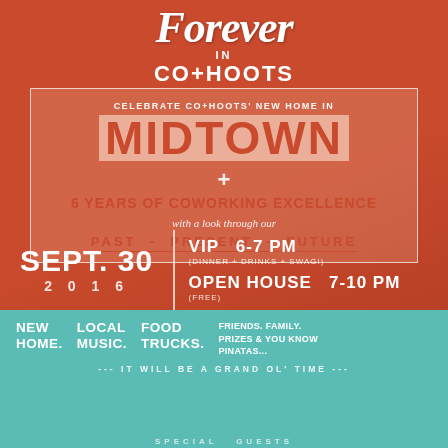Forever in CO+HOOTS
CELEBRATE CO+HOOTS' NEW HOME IN MIDTOWN + 6 YEARS OF COWORKING EXCELLENCE with a look through our PAST - PRESENT - FUTURE
SEPT. 30 2016 | VIP 6-7 PM (DINNER + DRINKS + SWAG!) | OPEN HOUSE 7-10 PM (FREE)
NEW HOME. LOCAL MUSIC. FOOD TRUCKS. FRIENDS. FAMILY. PRIZES & YOU KNOW PINATAS...
--- IT WILL BE A GRAND OL' TIME ---
SPECIAL GUESTS